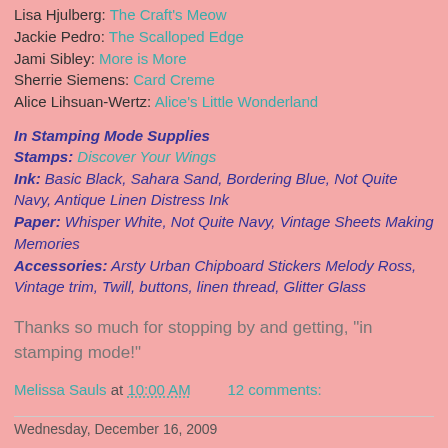Lisa Hjulberg: The Craft's Meow
Jackie Pedro: The Scalloped Edge
Jami Sibley: More is More
Sherrie Siemens: Card Creme
Alice Lihsuan-Wertz: Alice's Little Wonderland
In Stamping Mode Supplies
Stamps: Discover Your Wings
Ink: Basic Black, Sahara Sand, Bordering Blue, Not Quite Navy, Antique Linen Distress Ink
Paper: Whisper White, Not Quite Navy, Vintage Sheets Making Memories
Accessories: Arsty Urban Chipboard Stickers Melody Ross, Vintage trim, Twill, buttons, linen thread, Glitter Glass
Thanks so much for stopping by and getting, "in stamping mode!"
Melissa Sauls at 10:00 AM    12 comments:
Wednesday, December 16, 2009